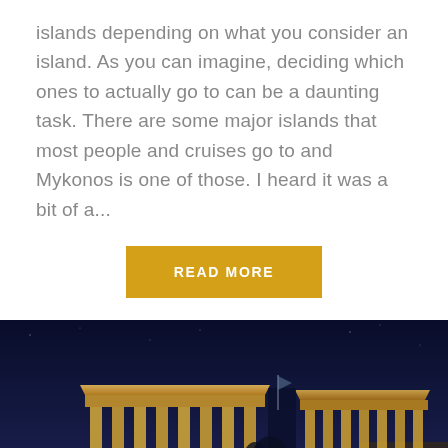islands depending on what you consider an island. As you can imagine, deciding which ones to actually go to can be a daunting task. There are some major islands that most people and cruises go to and Mykonos is one of those. I heard it was a bit of a...
READ MORE
[Figure (photo): Night photograph of the Parthenon or similar ancient Greek temple on the Acropolis, illuminated with warm golden light against a dark blue night sky, with stone walls and ruins in the foreground.]